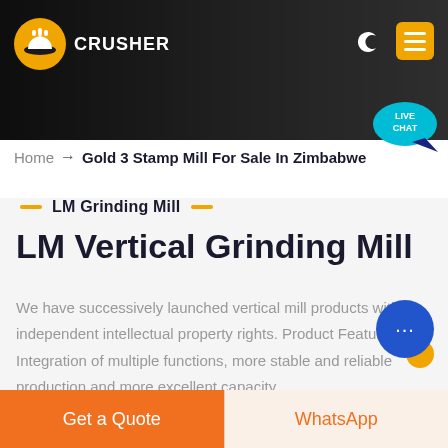[Figure (screenshot): Website header banner with dark background showing mining/crusher machinery, orange logo with hard hat icon on left, CRUSHER text, moon icon and yellow menu button on top right]
Home → Gold 3 Stamp Mill For Sale In Zimbabwe
LM Grinding Mill
LM Vertical Grinding Mill
We have successively launched vertical mill products with independent intellectual property rights. Product Features: Integration of multiple functions, more stable and reliable production and more excellent capacity
Get a Quote
WhatsApp